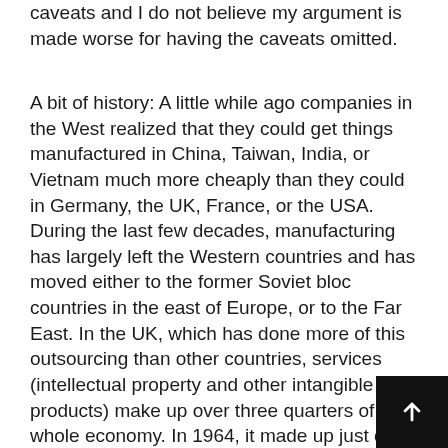caveats and I do not believe my argument is made worse for having the caveats omitted.
A bit of history: A little while ago companies in the West realized that they could get things manufactured in China, Taiwan, India, or Vietnam much more cheaply than they could in Germany, the UK, France, or the USA. During the last few decades, manufacturing has largely left the Western countries and has moved either to the former Soviet bloc countries in the east of Europe, or to the Far East. In the UK, which has done more of this outsourcing than other countries, services (intellectual property and other intangible products) make up over three quarters of the whole economy. In 1964, it made up just over half (Source: Oxford Royale Academy).